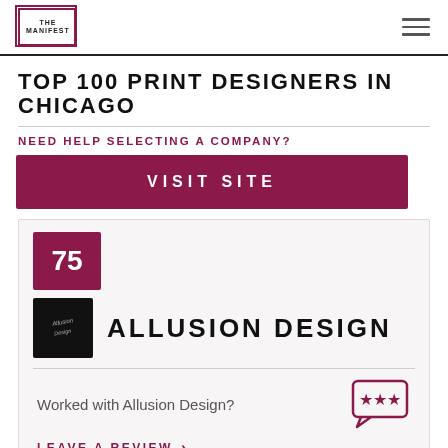THE MANIFEST
TOP 100 PRINT DESIGNERS IN CHICAGO
NEED HELP SELECTING A COMPANY?
VISIT SITE
75
[Figure (logo): Allusion Design company logo — dark background with stylized signature]
ALLUSION DESIGN
Worked with Allusion Design?
[Figure (illustration): Speech bubble icon with three stars]
LEAVE A REVIEW